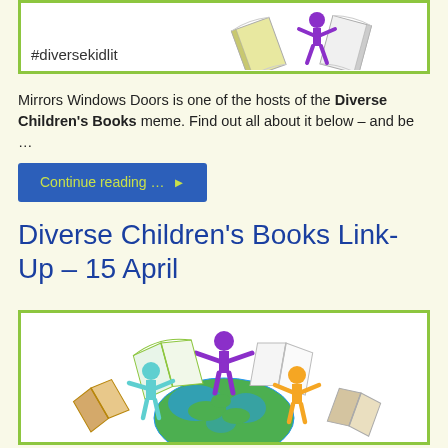[Figure (illustration): Illustration of open books arranged in a fan pattern with a purple figure, with green border and #diversekidlit hashtag text at bottom left]
Mirrors Windows Doors is one of the hosts of the Diverse Children's Books meme. Find out all about it below – and be …
Continue reading … ▶
Diverse Children's Books Link-Up – 15 April
[Figure (illustration): Illustration of colorful children figures (teal, purple, orange) standing on a globe holding open books, with green border]